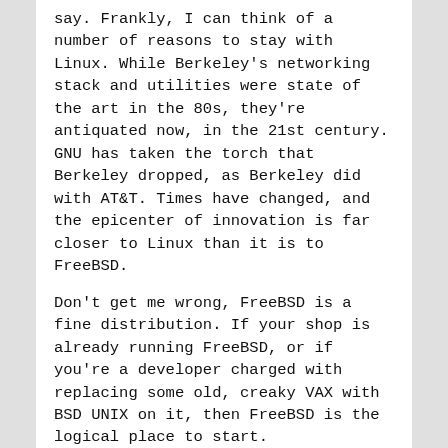say. Frankly, I can think of a number of reasons to stay with Linux. While Berkeley's networking stack and utilities were state of the art in the 80s, they're antiquated now, in the 21st century. GNU has taken the torch that Berkeley dropped, as Berkeley did with AT&T. Times have changed, and the epicenter of innovation is far closer to Linux than it is to FreeBSD.
Don't get me wrong, FreeBSD is a fine distribution. If your shop is already running FreeBSD, or if you're a developer charged with replacing some old, creaky VAX with BSD UNIX on it, then FreeBSD is the logical place to start.
I think the author is confused about what an OS is, vs. what utilities, libraries and applications are. When dealing with the UNIX paradigm, this kind of knowledge is essential! Even if the installers are different, the programs that are being installed are